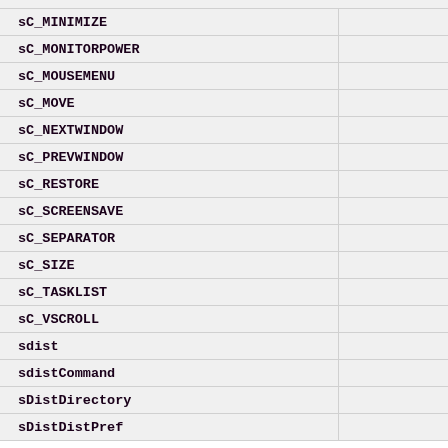| Name |  |
| --- | --- |
| sC_MINIMIZE |  |
| sC_MONITORPOWER |  |
| sC_MOUSEMENU |  |
| sC_MOVE |  |
| sC_NEXTWINDOW |  |
| sC_PREVWINDOW |  |
| sC_RESTORE |  |
| sC_SCREENSAVE |  |
| sC_SEPARATOR |  |
| sC_SIZE |  |
| sC_TASKLIST |  |
| sC_VSCROLL |  |
| sdist |  |
| sdistCommand |  |
| sDistDirectory |  |
| sDistDistPref |  |